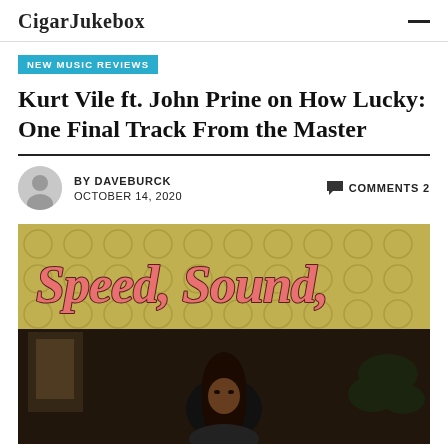CigarJukebox
NEW MUSIC REVIEWS
Kurt Vile ft. John Prine on How Lucky: One Final Track From the Master
BY DAVEBURCK  OCTOBER 14, 2020  COMMENTS 2
[Figure (photo): Album art for Speed, Sound, — a stylized script title in pink over a gold/green patterned background, with a black-and-white photo of a person with long dark hair below.]